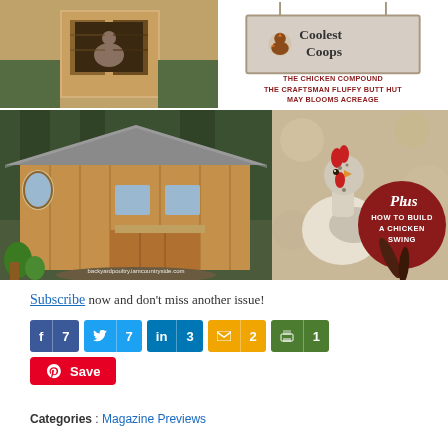[Figure (photo): Top-left photo of a wooden chicken coop interior with open shutters]
[Figure (illustration): Coolest Coops sign with rooster icon, listing: THE CHICKEN COMPOUND, THE CRAFTSMAN FLUFFY BUTT HUT, MAY BLOOMS ACREAGE]
[Figure (photo): Large wooden craftsman-style chicken coop building in forest setting with watermark backyardpoultry.iamcountryside.com]
[Figure (photo): Speckled chicken with dark red circle overlay reading Plus: HOW TO BUILD A CHICKEN SWING]
Subscribe now and don’t miss another issue!
[Figure (infographic): Social share buttons: Facebook 7, Twitter 7, LinkedIn 3, Email 2, Print 1; Pinterest Save button]
Categories : Magazine Previews